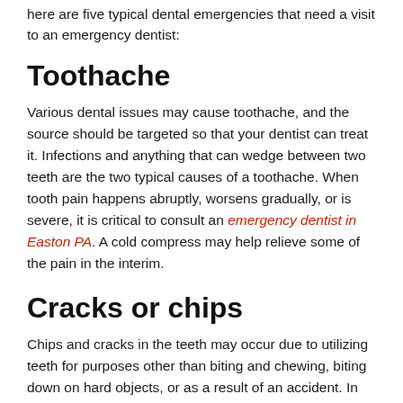here are five typical dental emergencies that need a visit to an emergency dentist:
Toothache
Various dental issues may cause toothache, and the source should be targeted so that your dentist can treat it. Infections and anything that can wedge between two teeth are the two typical causes of a toothache. When tooth pain happens abruptly, worsens gradually, or is severe, it is critical to consult an emergency dentist in Easton PA. A cold compress may help relieve some of the pain in the interim.
Cracks or chips
Chips and cracks in the teeth may occur due to utilizing teeth for purposes other than biting and chewing, biting down on hard objects, or as a result of an accident. In addition, people who grind or clench